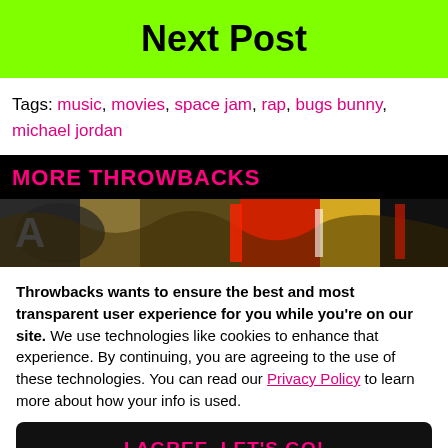Next Post
Tags: music, movies, space jam, rap, bugs bunny, michael jordan
MORE THROWBACKS
[Figure (photo): Close-up colorful graffiti or sneaker art with red, white, black, gold colors]
Throwbacks wants to ensure the best and most transparent user experience for you while you're on our site. We use technologies like cookies to enhance that experience. By continuing, you are agreeing to the use of these technologies. You can read our Privacy Policy to learn more about how your info is used.
I AGREE, LET'S GO!